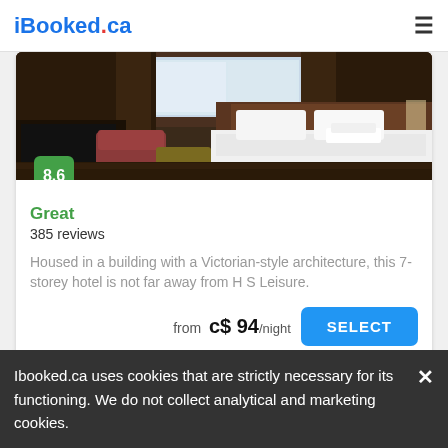iBooked.ca
[Figure (photo): Hotel room interior with Victorian-style decor, brown curtains, armchairs, and a bed with white pillows and folded towels]
8.6
Great
385 reviews
Housed in a building with a Victorian-style architecture, this 7-storey hotel is not far away from H S Leisure.
from c$ 94/night
Doubletree By Hilton Harrogate Majestic Hotel & Spa
Ibooked.ca uses cookies that are strictly necessary for its functioning. We do not collect analytical and marketing cookies.